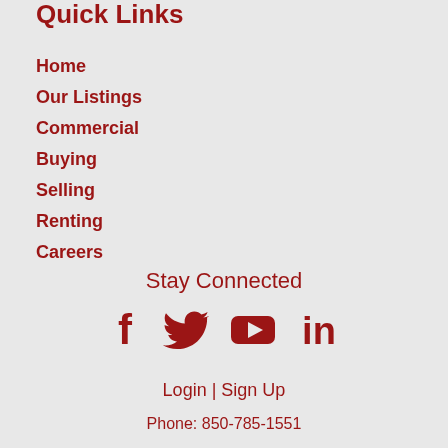Quick Links
Home
Our Listings
Commercial
Buying
Selling
Renting
Careers
Stay Connected
[Figure (infographic): Social media icons: Facebook, Twitter, YouTube, LinkedIn in dark red]
Login | Sign Up
Phone: 850-785-1551